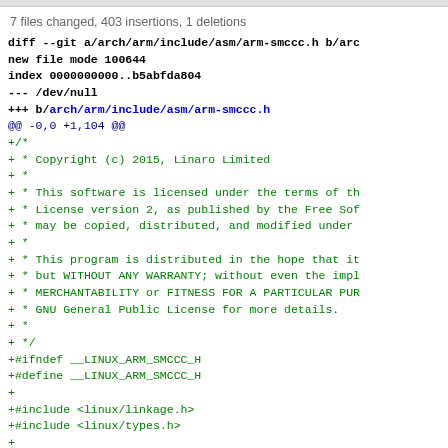7 files changed, 403 insertions, 1 deletions
diff --git a/arch/arm/include/asm/arm-smccc.h b/arc
new file mode 100644
index 0000000000..b5abfda804
--- /dev/null
+++ b/arch/arm/include/asm/arm-smccc.h
@@ -0,0 +1,104 @@
+/*
+ * Copyright (c) 2015, Linaro Limited
+ *
+ * This software is licensed under the terms of th
+ * License version 2, as published by the Free Sof
+ * may be copied, distributed, and modified under
+ *
+ * This program is distributed in the hope that it
+ * but WITHOUT ANY WARRANTY; without even the impl
+ * MERCHANTABILITY or FITNESS FOR A PARTICULAR PUR
+ * GNU General Public License for more details.
+ *
+ */
+#ifndef __LINUX_ARM_SMCCC_H
+#define __LINUX_ARM_SMCCC_H
+
+#include <linux/linkage.h>
+#include <linux/types.h>
+
+/*
+ * This file provides common defines for ARM SMC C